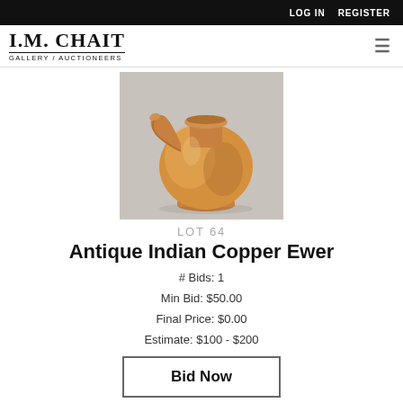LOG IN   REGISTER
I.M. CHAIT GALLERY / AUCTIONEERS
[Figure (photo): Antique Indian copper ewer with round bulbous body, narrow neck with flared rim, and curved spout, photographed against a neutral gray background.]
LOT 64
Antique Indian Copper Ewer
# Bids: 1
Min Bid: $50.00
Final Price: $0.00
Estimate: $100 - $200
Bid Now